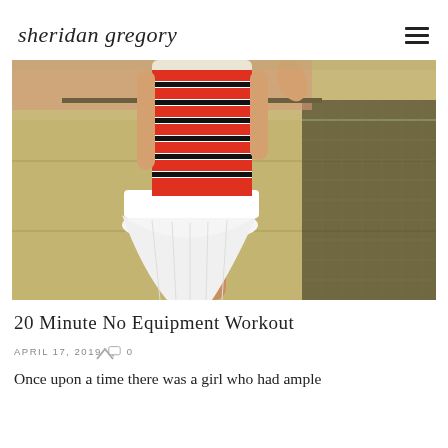sheridan gregory
[Figure (photo): Woman in a red and white striped sleeveless top and white pleated tennis skirt standing on a tennis court next to a net]
20 Minute No Equipment Workout
APRIL 17, 2019  0
Once upon a time there was a girl who had ample